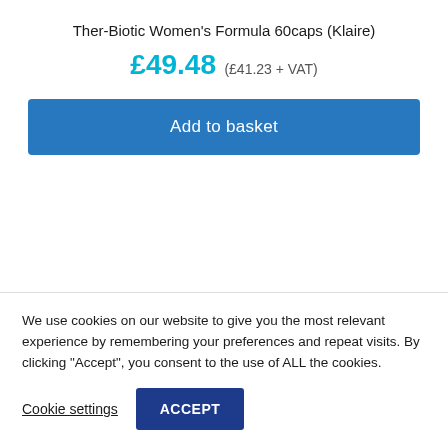Ther-Biotic Women's Formula 60caps (Klaire)
£49.48 (£41.23 + VAT)
Add to basket
[Figure (photo): Product image placeholder (white/grey pill bottle, cropped)]
We use cookies on our website to give you the most relevant experience by remembering your preferences and repeat visits. By clicking "Accept", you consent to the use of ALL the cookies.
Cookie settings
ACCEPT